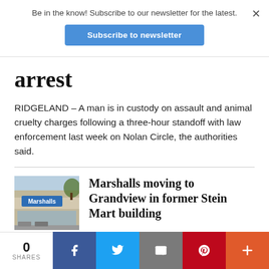Be in the know! Subscribe to our newsletter for the latest.
Subscribe to newsletter
arrest
RIDGELAND – A man is in custody on assault and animal cruelty charges following a three-hour standoff with law enforcement last week on Nolan Circle, the authorities said.
[Figure (photo): Exterior photo of a Marshalls department store building]
Marshalls moving to Grandview in former Stein Mart building
MADISON – The Marshalls Department Store off